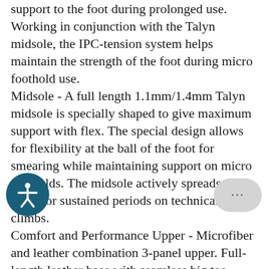support to the foot during prolonged use. Working in conjunction with the Talyn midsole, the IPC-tension system helps maintain the strength of the foot during micro foothold use. Midsole - A full length 1.1mm/1.4mm Talyn midsole is specially shaped to give maximum support with flex. The special design allows for flexibility at the ball of the foot for smearing while maintaining support on micro footholds. The midsole actively spreads the force for sustained periods on technical face climbs. Comfort and Performance Upper - Microfiber and leather combination 3-panel upper. Full-length leather base with seamless big toe panel and large seamless four-toe panel allows the toe box to gently mould and shape to your foot. Sole - The full length Vibram XS Edge rubber sole unit gives excellent stability for micro crystals and e[icon]. The 2mm Vibram XS Grip 2 rubber in[bubble] t[icon]eel unit gives further structural suppo[bubble] tension to the shoe while helping maintain comfort level.